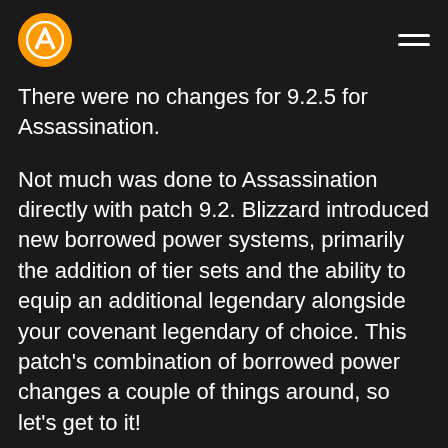Maxroll Gaming Guide Header
There were no changes for 9.2.5 for Assassination.
Not much was done to Assassination directly with patch 9.2. Blizzard introduced new borrowed power systems, primarily the addition of tier sets and the ability to equip an additional legendary alongside your covenant legendary of choice. This patch's combination of borrowed power changes a couple of things around, so let's get to it!
Assassination is often regarded as the go-to raiding spec for rogues. It is a versatile spec with very consistent damage, a smooth…